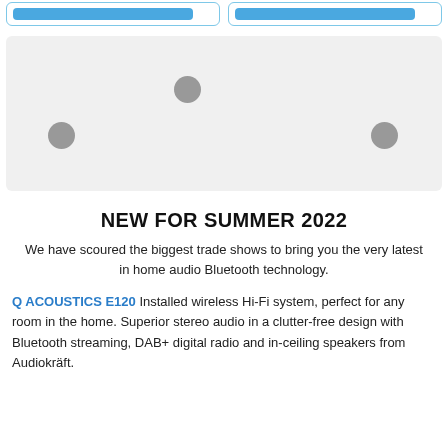[Figure (other): Two product card stubs with blue buttons at top of page]
[Figure (other): Light gray rectangular image placeholder with three gray circular dots positioned at lower-left, upper-center, and lower-right]
NEW FOR SUMMER 2022
We have scoured the biggest trade shows to bring you the very latest in home audio Bluetooth technology.
Q ACOUSTICS E120 Installed wireless Hi-Fi system, perfect for any room in the home. Superior stereo audio in a clutter-free design with Bluetooth streaming, DAB+ digital radio and in-ceiling speakers from Audiokräft.